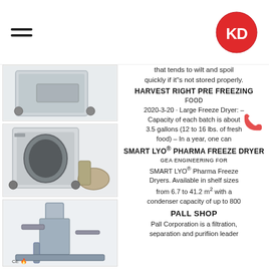KD logo with hamburger menu
[Figure (photo): Industrial freeze dryer unit on wheels, light grey cabinet]
[Figure (photo): Harvest Right large freeze dryer with vacuum pump]
that tends to wilt and spoil quickly if it"s not stored properly.
HARVEST RIGHT PRE FREEZING FOOD
2020-3-20 · Large Freeze Dryer: – Capacity of each batch is about 3.5 gallons (12 to 16 lbs. of fresh food) – In a year, one can
[Figure (photo): SMART LYO pharma industrial freeze dryer tower unit with CE mark]
SMART LYO® PHARMA FREEZE DRYER GEA ENGINEERING FOR
SMART LYO® Pharma Freeze Dryers. Available in shelf sizes from 6.7 to 41.2 m² with a condenser capacity of up to 800
[Figure (photo): Industrial large-scale freeze drying cabinet with multiple rows of containers]
PALL SHOP
Pall Corporation is a filtration, separation and purifiion leader